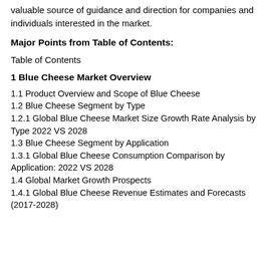valuable source of guidance and direction for companies and individuals interested in the market.
Major Points from Table of Contents:
Table of Contents
1 Blue Cheese Market Overview
1.1 Product Overview and Scope of Blue Cheese
1.2 Blue Cheese Segment by Type
1.2.1 Global Blue Cheese Market Size Growth Rate Analysis by Type 2022 VS 2028
1.3 Blue Cheese Segment by Application
1.3.1 Global Blue Cheese Consumption Comparison by Application: 2022 VS 2028
1.4 Global Market Growth Prospects
1.4.1 Global Blue Cheese Revenue Estimates and Forecasts (2017-2028)